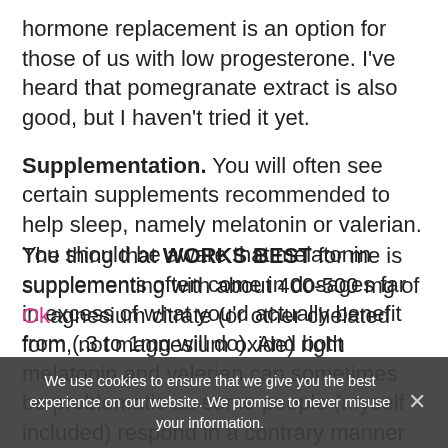hormone replacement is an option for those of us with low progesterone.  I've heard that pomegranate extract is also good, but I haven't tried it yet.
Supplementation.  You will often see certain supplements recommended to help sleep, namely melatonin or valerian.  You should be aware that melatonin supplements often come in dosages far in excess of what you'd actually benefit from (.3 to 1mg will do).  And both melatonin and valerian can sometimes be problematic as some people (myself included) respond in a contrary manner and become wired instead of relaxed.  By the way, you should only use melatonin under a doctor's supervision.
The thing that WORKS BEST for me is supplementing with about 400-500 mg of Magnesium citrate (or other chelated form, not magnesium oxide) right
We use cookies to ensure that we give you the best experience on our website. We promise to never misuse your information.